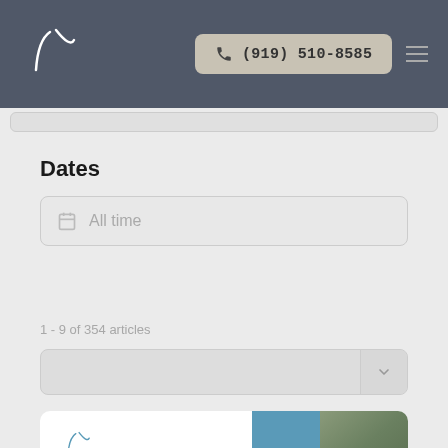γ  (919) 510-8585
Dates
All time
1 - 9 of 354 articles
[Figure (screenshot): Dropdown sort selector with chevron arrow on right side]
[Figure (screenshot): Card preview at bottom with logo, blue panel, and photo]